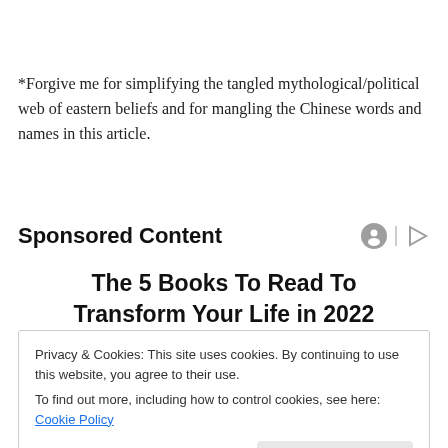*Forgive me for simplifying the tangled mythological/political web of eastern beliefs and for mangling the Chinese words and names in this article.
Sponsored Content
The 5 Books To Read To Transform Your Life in 2022
Privacy & Cookies: This site uses cookies. By continuing to use this website, you agree to their use.
To find out more, including how to control cookies, see here: Cookie Policy
Close and accept